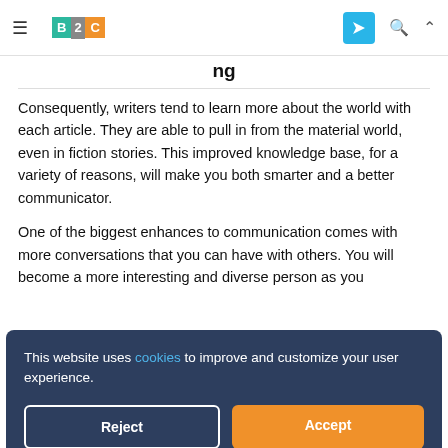B2C (logo) navigation bar
Consequently, writers tend to learn more about the world with each article. They are able to pull in from the material world, even in fiction stories. This improved knowledge base, for a variety of reasons, will make you both smarter and a better communicator.
One of the biggest enhances to communication comes with more conversations that you can have with others. You will become a more interesting and diverse person as you
This website uses cookies to improve and customize your user experience.
and have conversations on topics that you previously would